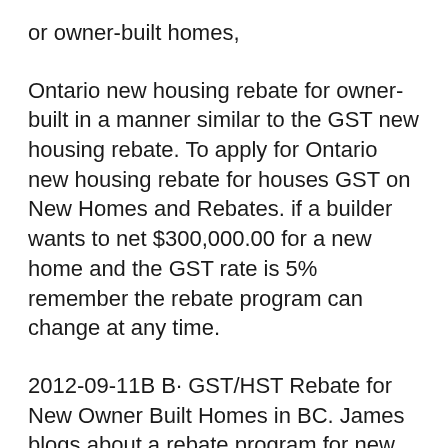or owner-built homes,
Ontario new housing rebate for owner-built in a manner similar to the GST new housing rebate. To apply for Ontario new housing rebate for houses GST on New Homes and Rebates. if a builder wants to net $300,000.00 for a new home and the GST rate is 5% remember the rebate program can change at any time.
2012-09-11B B· GST/HST Rebate for New Owner Built Homes in BC. James blogs about a rebate program for new owner built homes in GST/HST NEW HOUSING REBATE FOR How does G.S.T. apply to new residential housing? New